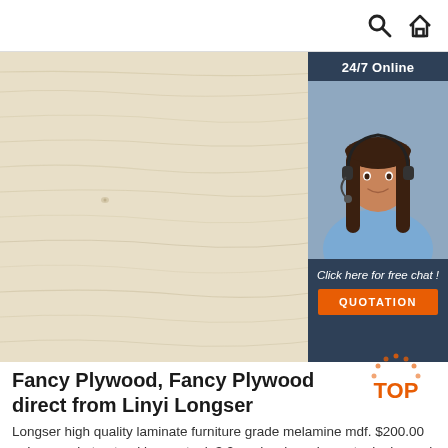Search and Home icons
[Figure (photo): Plywood sheet with light wood grain texture, and a chat widget overlay showing '24/7 Online', customer service representative with headset, 'Click here for free chat!' text, and orange QUOTATION button]
Fancy Plywood, Fancy Plywood direct from Linyi Longser
Longser high quality laminate furniture grade melamine mdf. $200.00 ... Iraq market natural burma teak 3.2mm hardwood core teak plywood. $280.00 ... (Min. Order) 3.5mm Becon...